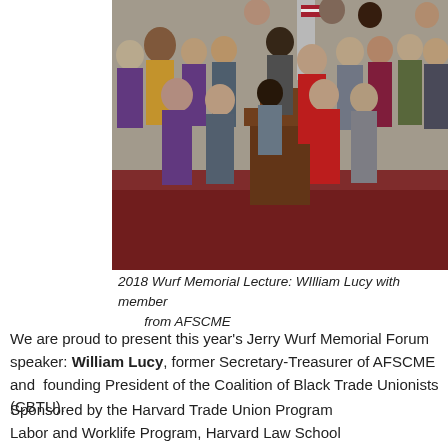[Figure (photo): Group photo from the 2018 Wurf Memorial Lecture showing William Lucy with members from AFSCME, standing in a room with red carpet around a wooden podium. An American flag is visible in the background.]
2018 Wurf Memorial Lecture: WIlliam Lucy with members from AFSCME
We are proud to present this year's Jerry Wurf Memorial Forum speaker: William Lucy, former Secretary-Treasurer of AFSCME and  founding President of the Coalition of Black Trade Unionists (CBTU).
Sponsored by the Harvard Trade Union Program
Labor and Worklife Program, Harvard Law School
Charles Hamilton Houston Institute for Race and Justice,
Harvard Law School